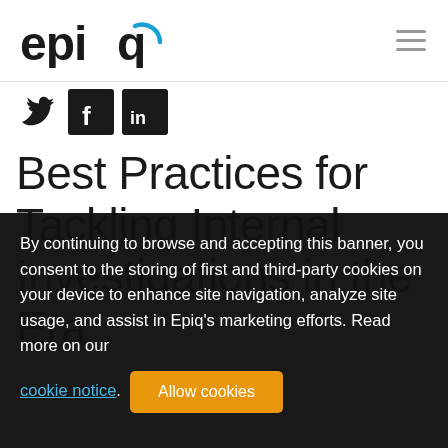epiq (logo) with hamburger menu
[Figure (logo): Epiq logo with stylized 'epiq' text and blue arc, plus hamburger menu icon on the right]
[Figure (infographic): Social media icons: Twitter bird, Facebook f, LinkedIn in — all in dark square/circle icons]
Best Practices for Tackling Internal Investigations in the Era
By continuing to browse and accepting this banner, you consent to the storing of first and third-party cookies on your device to enhance site navigation, analyze site usage, and assist in Epiq's marketing efforts. Read more on our cookie notice. [Allow cookies button]